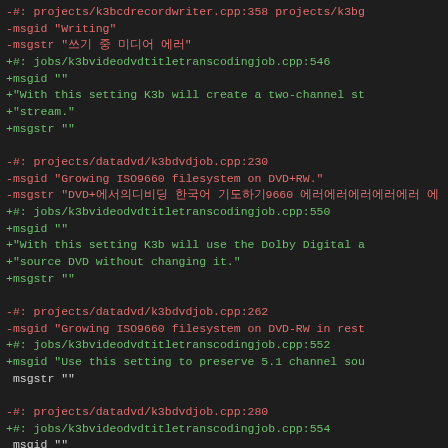diff code block showing localization file changes with red (removed) and green (added) lines for k3b software project